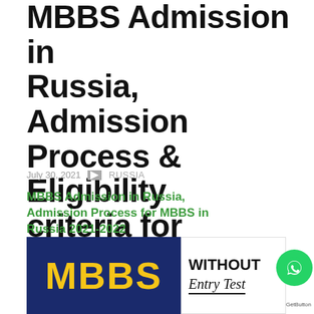MBBS Admission in Russia, Admission Process & Eligibility criteria for Pakistani Students
July 30, 2021   RUSSIA
MBBS Admission in Russia, Admission Process for MBBS in Russia 2021-2022
[Figure (photo): Banner image with dark blue background showing 'MBBS' in large yellow bold letters on the left, and a white box on the right showing 'WITHOUT Entry Test' text. A WhatsApp button and GetButton label are overlaid on the right side.]